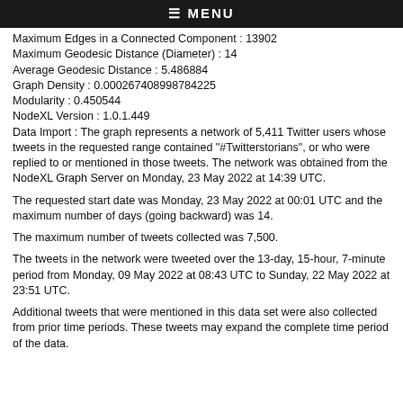≡ MENU
Maximum Edges in a Connected Component : 13902
Maximum Geodesic Distance (Diameter) : 14
Average Geodesic Distance : 5.486884
Graph Density : 0.000267408998784225
Modularity : 0.450544
NodeXL Version : 1.0.1.449
Data Import : The graph represents a network of 5,411 Twitter users whose tweets in the requested range contained "#Twitterstorians", or who were replied to or mentioned in those tweets. The network was obtained from the NodeXL Graph Server on Monday, 23 May 2022 at 14:39 UTC.
The requested start date was Monday, 23 May 2022 at 00:01 UTC and the maximum number of days (going backward) was 14.
The maximum number of tweets collected was 7,500.
The tweets in the network were tweeted over the 13-day, 15-hour, 7-minute period from Monday, 09 May 2022 at 08:43 UTC to Sunday, 22 May 2022 at 23:51 UTC.
Additional tweets that were mentioned in this data set were also collected from prior time periods. These tweets may expand the complete time period of the data.